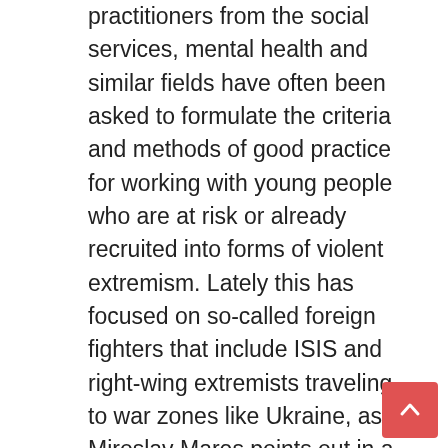practitioners from the social services, mental health and similar fields have often been asked to formulate the criteria and methods of good practice for working with young people who are at risk or already recruited into forms of violent extremism. Lately this has focused on so-called foreign fighters that include ISIS and right-wing extremists traveling to war zones like Ukraine, as Miroslav Mares points out in a 2015 report in the Bundeskriminalamt's (German Federal Criminal Police) EWPS Journal, while neglecting other forms of violent extremism. We prefer to call this work disengagement, rehabilitation, resocialization or simply relational work, rather than deradicalization.
We have done so in detail and in a solidly evidence-based way through the framework of the Radicalisation Awareness Network and have articulated and presented these criteria, principles and methods in various instances, including in my